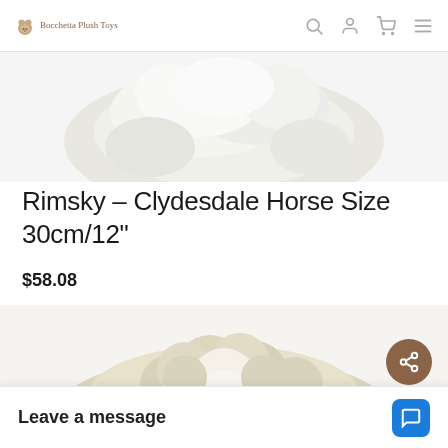Bocchetta Plush Toys
[Figure (photo): White plush Clydesdale horse stuffed animal, top portion visible, soft white fur]
Rimsky – Clydesdale Horse Size 30cm/12"
$58.08
[Figure (photo): Cream/beige plush lamb or sheep stuffed animal, face visible with brown eyes and pink nose]
Leave a message